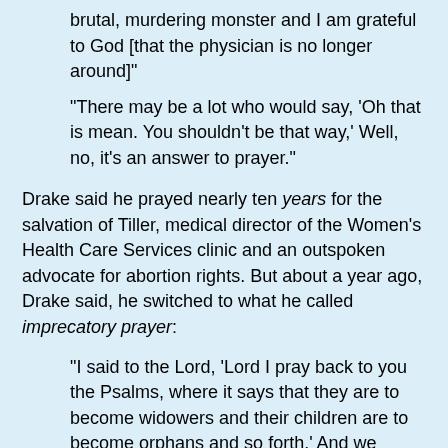brutal, murdering monster and I am grateful to God [that the physician is no longer around]"
"There may be a lot who would say, 'Oh that is mean. You shouldn't be that way,' Well, no, it's an answer to prayer."
Drake said he prayed nearly ten years for the salvation of Tiller, medical director of the Women's Health Care Services clinic and an outspoken advocate for abortion rights. But about a year ago, Drake said, he switched to what he called imprecatory prayer:
"I said to the Lord, 'Lord I pray back to you the Psalms, where it says that they are to become widowers and their children are to become orphans and so forth.' And we began calling for those imprecatory prayers, because he had obviously turned his back on God again and again and again.
Drake called Tiller "a reprobate" and a "brutal, arrogant murderer" who "bragged on his own website how many